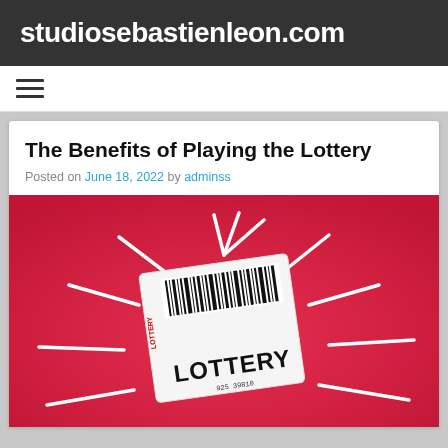studiosebastienleon.com
≡ (navigation menu)
The Benefits of Playing the Lottery
Posted on June 18, 2022 by adminss
[Figure (illustration): A lottery ticket with barcode and the word LOTTERY printed on it, surrounded by white radiating lines on a red background. A serial number ending in 39810 is visible at the bottom.]